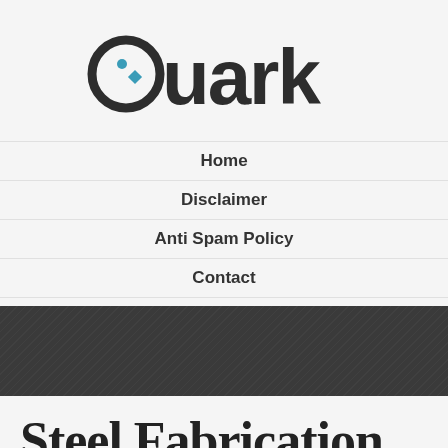[Figure (logo): Quark logo: circular ring icon with a teal dot and teal diamond shape, followed by bold sans-serif text 'Quark']
Home
Disclaimer
Anti Spam Policy
Contact
Steel Fabrication